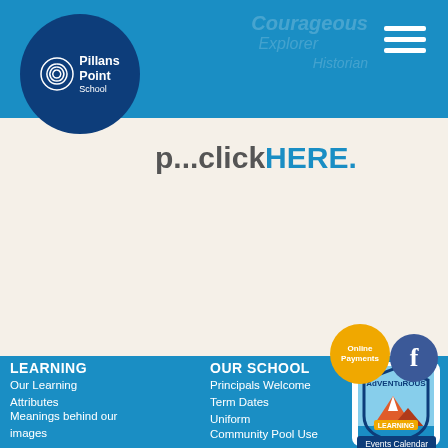Pillans Point School
p... click HERE.
LEARNING
Our Learning Attributes
Meanings behind our images
Learner Competencies
Adventurous Learning Pathway
Teaching Teams
Adventure Time
Seesaw
School Houses
OUR SCHOOL
Principals Welcome
Term Dates
Uniform
Community Pool Use
Policies
Uniform
Before and After School Care
Feet First
2019-2022 Redevelopments
[Figure (logo): Pillans Point School logo - circular dark blue badge with spiral icon and school name]
[Figure (illustration): Adventurous Learning badge/emblem with mountain and water scene]
Online Payments
Events Calendar